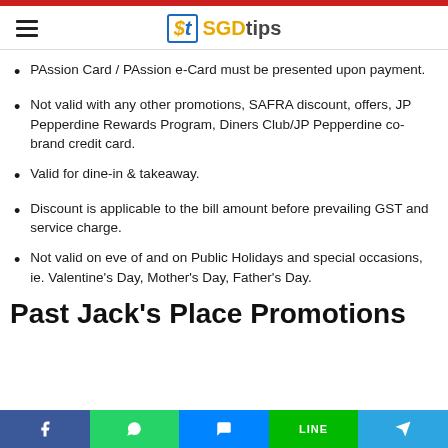SGDtips
PAssion Card / PAssion e-Card must be presented upon payment.
Not valid with any other promotions, SAFRA discount, offers, JP Pepperdine Rewards Program, Diners Club/JP Pepperdine co-brand credit card.
Valid for dine-in & takeaway.
Discount is applicable to the bill amount before prevailing GST and service charge.
Not valid on eve of and on Public Holidays and special occasions, ie. Valentine's Day, Mother's Day, Father's Day.
Past Jack's Place Promotions